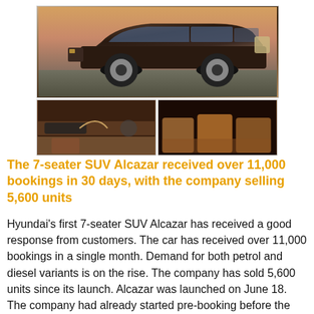[Figure (photo): Three photos of the Hyundai Alcazar SUV: top image shows exterior side view of dark brown SUV, bottom-left shows interior dashboard view, bottom-right shows interior rear seating]
The 7-seater SUV Alcazar received over 11,000 bookings in 30 days, with the company selling 5,600 units
Hyundai's first 7-seater SUV Alcazar has received a good response from customers. The car has received over 11,000 bookings in a single month. Demand for both petrol and diesel variants is on the rise. The company has sold 5,600 units since its launch. Alcazar was launched on June 18. The company had already started pre-booking before the launch.